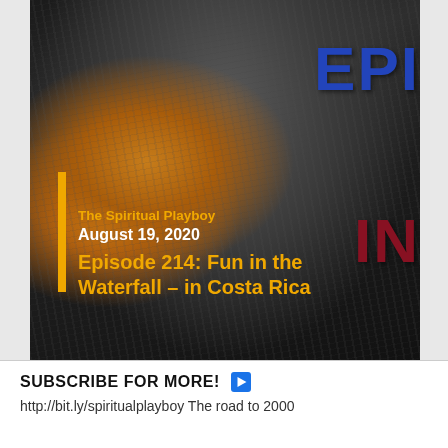[Figure (screenshot): Video thumbnail showing a waterfall scene with dark rocky water and an orange/golden splash area. Text overlay shows 'EPI' in blue and 'IN' in dark red on the right side. A yellow vertical bar on the left with channel name 'The Spiritual Playboy', date 'August 19, 2020', and episode title 'Episode 214: Fun in the Waterfall – in Costa Rica' in orange bold text.]
SUBSCRIBE FOR MORE! ▶
http://bit.ly/spiritualplayboy The road to 2000...